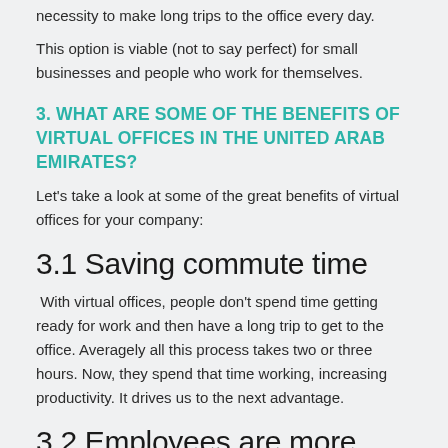necessity to make long trips to the office every day.
This option is viable (not to say perfect) for small businesses and people who work for themselves.
3. WHAT ARE SOME OF THE BENEFITS OF VIRTUAL OFFICES IN THE UNITED ARAB EMIRATES?
Let's take a look at some of the great benefits of virtual offices for your company:
3.1 Saving commute time
With virtual offices, people don't spend time getting ready for work and then have a long trip to get to the office. Averagely all this process takes two or three hours. Now, they spend that time working, increasing productivity. It drives us to the next advantage.
3.2 Employees are more energetic and